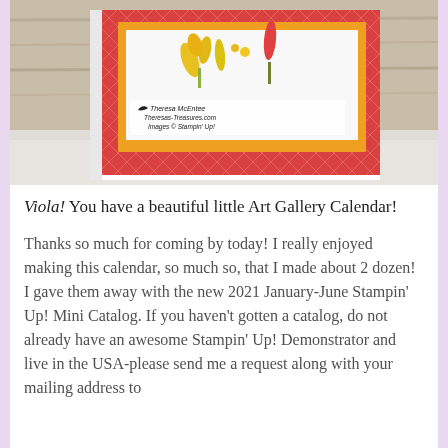[Figure (photo): A handmade greeting card with a red diamond-pattern background, orange border, and white interior panel showing yellow flower/botanical artwork. The card displays a label reading 'Theresa McEntee Theresas-Treasures.com Images © Stampin' Up!' The card is propped open on a light surface with a wooden background.]
Viola! You have a beautiful little Art Gallery Calendar!
Thanks so much for coming by today! I really enjoyed making this calendar, so much so, that I made about 2 dozen! I gave them away with the new 2021 January-June Stampin' Up! Mini Catalog. If you haven't gotten a catalog, do not already have an awesome Stampin' Up! Demonstrator and live in the USA-please send me a request along with your mailing address to